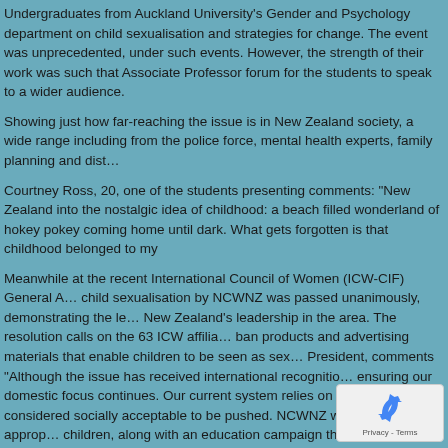Undergraduates from Auckland University's Gender and Psychology department on child sexualisation and strategies for change. The event was unprecedented, under such events. However, the strength of their work was such that Associate Professor forum for the students to speak to a wider audience.
Showing just how far-reaching the issue is in New Zealand society, a wide range including from the police force, mental health experts, family planning and district health boards.
Courtney Ross, 20, one of the students presenting comments: "New Zealand has a nostalgic idea of childhood: a beach filled wonderland of hokey pokey ice-cream and not coming home until dark. What gets forgotten is that childhood belonged to my generation."
Meanwhile at the recent International Council of Women (ICW-CIF) General Assembly, a resolution on child sexualisation by NCWNZ was passed unanimously, demonstrating the level of New Zealand's leadership in the area. The resolution calls on the 63 ICW affiliated countries to ban products and advertising materials that enable children to be seen as sexual objects. NCWNZ President, comments "Although the issue has received international recognition, we are focused on ensuring our domestic focus continues. Our current system relies on self-regulation and what is considered socially acceptable to be pushed. NCWNZ wants to see the appropriate legislation to protect children, along with an education campaign that informs parents of the potential harms to childhood."
Cotton Off Our Kids campaign
[Figure (logo): reCAPTCHA badge with blue arrow icon and Privacy - Terms text]